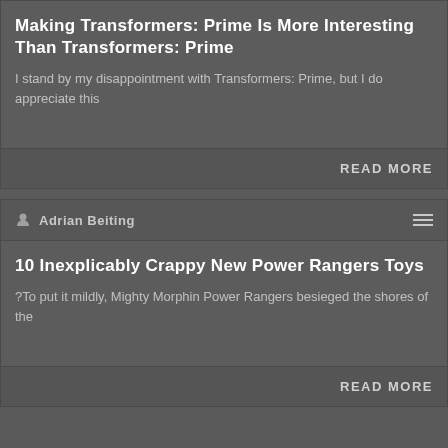Making Transformers: Prime Is More Interesting Than Transformers: Prime
I stand by my disappointment with Transformers: Prime, but I do appreciate this
Read More
Adrian Beiting
10 Inexplicably Crappy New Power Rangers Toys
?To put it mildly, Mighty Morphin Power Rangers besieged the shores of the
Read More